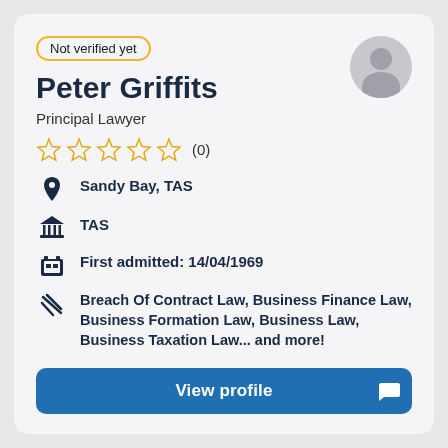Not verified yet
Peter Griffits
Principal Lawyer
[Figure (other): Five empty gold star rating icons with review count (0)]
Sandy Bay, TAS
TAS
First admitted: 14/04/1969
Breach Of Contract Law, Business Finance Law, Business Formation Law, Business Law, Business Taxation Law... and more!
View profile